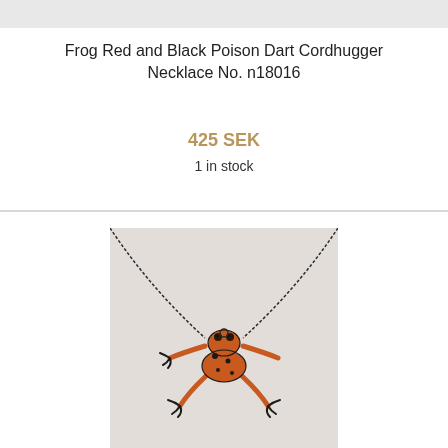[Figure (photo): Top portion of a product photo showing a light gray/white background — partial image strip at top of page]
Frog Red and Black Poison Dart Cordhugger Necklace No. n18016
425 SEK
1 in stock
[Figure (photo): Product photo of a frog necklace: an orange and black poison dart frog pendant hanging from a dark chain on a light gray fabric background. The frog is mid-climb pose with legs extended.]